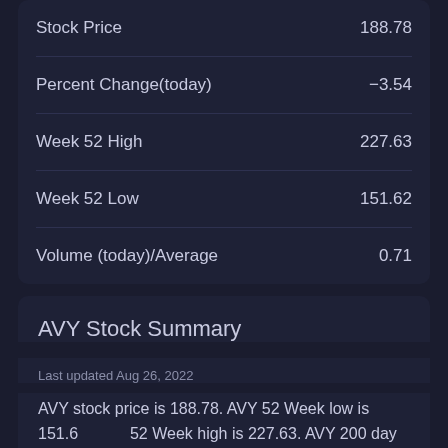| Metric | Value |
| --- | --- |
| Stock Price | 188.78 |
| Percent Change(today) | -3.54 |
| Week 52 High | 227.63 |
| Week 52 Low | 151.62 |
| Volume (today)/Average | 0.71 |
AVY Stock Summary
Last updated Aug 26, 2022
AVY stock price is 188.78. AVY 52 Week low is 151.62. AVY 52 Week high is 227.63. AVY 200 day moving average is 186.26. It is currently trading above 200 day moving